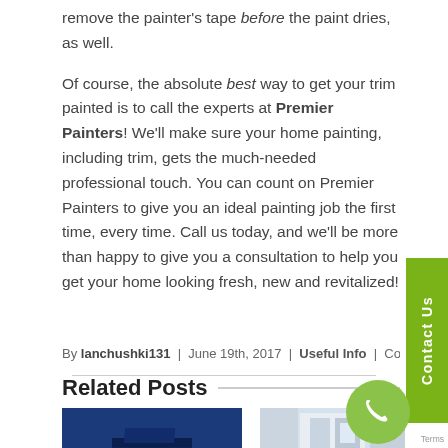remove the painter's tape before the paint dries, as well.
Of course, the absolute best way to get your trim painted is to call the experts at Premier Painters!  We'll make sure your home painting, including trim, gets the much-needed professional touch.  You can count on Premier Painters to give you an ideal painting job the first time, every time.  Call us today, and we'll be more than happy to give you a consultation to help you get your home looking fresh, new and revitalized!
By lanchushki131 | June 19th, 2017 | Useful Info | Comments Off
Related Posts
[Figure (photo): Photo of a house exterior at night with blue lighting and bare trees]
[Figure (photo): Photo of an interior showing a doorway or hallway with white trim]